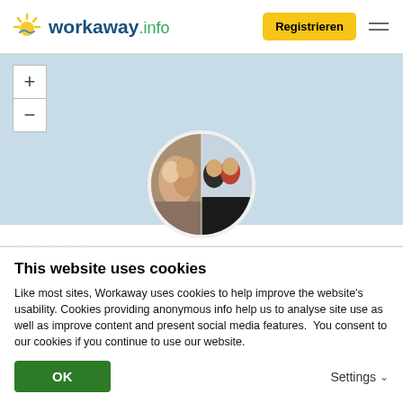[Figure (logo): Workaway.info logo with sun icon in yellow and blue tones]
Registrieren
[Figure (photo): Split circular profile photo showing a couple on the left and two women on the right]
★★★★★ (9)
Marco & Sania
This website uses cookies
Like most sites, Workaway uses cookies to help improve the website's usability. Cookies providing anonymous info help us to analyse site use as well as improve content and present social media features.  You consent to our cookies if you continue to use our website.
OK
Settings